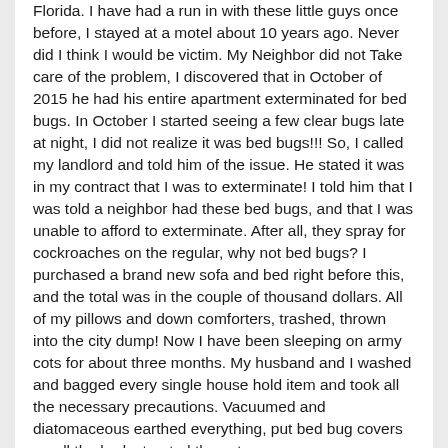Florida. I have had a run in with these little guys once before, I stayed at a motel about 10 years ago. Never did I think I would be victim. My Neighbor did not Take care of the problem, I discovered that in October of 2015 he had his entire apartment exterminated for bed bugs. In October I started seeing a few clear bugs late at night, I did not realize it was bed bugs!!! So, I called my landlord and told him of the issue. He stated it was in my contract that I was to exterminate! I told him that I was told a neighbor had these bed bugs, and that I was unable to afford to exterminate. After all, they spray for cockroaches on the regular, why not bed bugs? I purchased a brand new sofa and bed right before this, and the total was in the couple of thousand dollars. All of my pillows and down comforters, trashed, thrown into the city dump! Now I have been sleeping on army cots for about three months. My husband and I washed and bagged every single house hold item and took all the necessary precautions. Vacuumed and diatomaceous earthed everything, put bed bug covers on all the beds, treated the cots we are